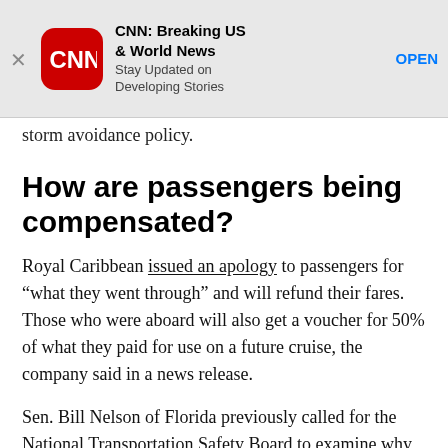[Figure (screenshot): CNN app advertisement banner with CNN logo (red rounded square with white CNN text), app name 'CNN: Breaking US & World News', subtitle 'Stay Updated on Developing Stories', and OPEN button link. Has an X close button on left.]
storm avoidance policy.
How are passengers being compensated?
Royal Caribbean issued an apology to passengers for “what they went through” and will refund their fares. Those who were aboard will also get a voucher for 50% of what they paid for use on a future cruise, the company said in a news release.
Sen. Bill Nelson of Florida previously called for the National Transportation Safety Board to examine why the ship set sail.
“The thing about this storm was that it was forecast